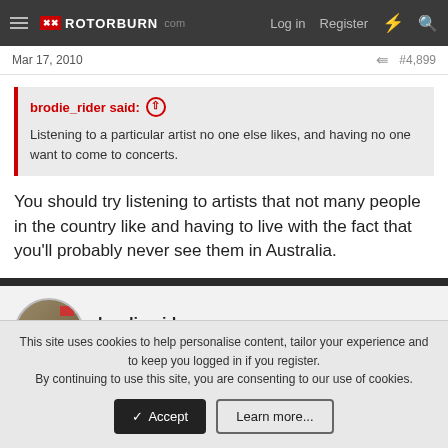ROTORBURN — Log in  Register
Mar 17, 2010  #4,899
brodie_rider said: ↑

Listening to a particular artist no one else likes, and having no one want to come to concerts.
You should try listening to artists that not many people in the country like and having to live with the fact that you'll probably never see them in Australia.
brodie_rider
Likes Dirt
This site uses cookies to help personalise content, tailor your experience and to keep you logged in if you register.
By continuing to use this site, you are consenting to our use of cookies.